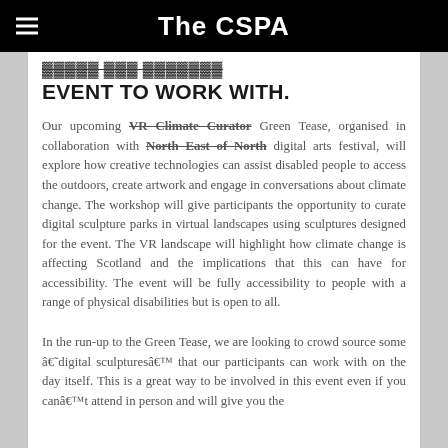The CSPA
EVENT TO WORK WITH.
Our upcoming VR Climate Curator Green Tease, organised in collaboration with North East of North digital arts festival, will explore how creative technologies can assist disabled people to access the outdoors, create artwork and engage in conversations about climate change. The workshop will give participants the opportunity to curate digital sculpture parks in virtual landscapes using sculptures designed for the event. The VR landscape will highlight how climate change is affecting Scotland and the implications that this can have for accessibility. The event will be fully accessibility to people with a range of physical disabilities but is open to all.
In the run-up to the Green Tease, we are looking to crowd source some â€˜digital sculpturesâ€™ that our participants can work with on the day itself. This is a great way to be involved in this event even if you canâ€™t attend in person and will give you the